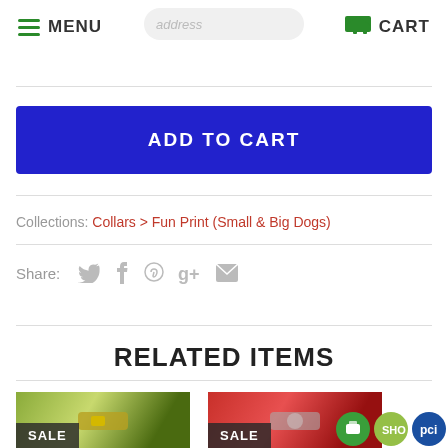MENU   CART
ADD TO CART
Collections: Collars > Fun Print (Small & Big Dogs)
Share:
RELATED ITEMS
[Figure (photo): Product photo with SALE badge - green/yellow print dog collar]
[Figure (photo): Product photo with SALE badge - red print dog collar]